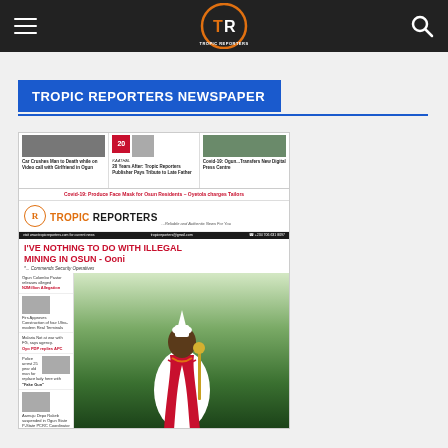Tropic Reporters - Navigation Bar with logo
TROPIC REPORTERS NEWSPAPER
[Figure (photo): Tropic Reporters newspaper front page showing Ooni of Ife in traditional white and red attire with the headline 'I'VE NOTHING TO DO WITH ILLEGAL MINING IN OSUN - Ooni' and various smaller news stories]